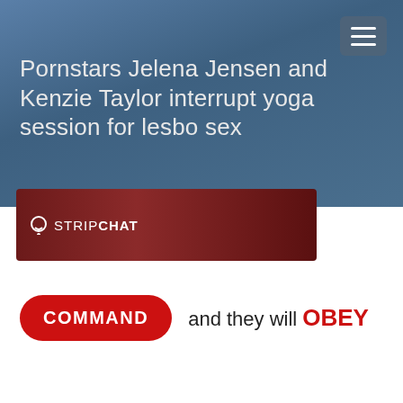Pornstars Jelena Jensen and Kenzie Taylor interrupt yoga session for lesbo sex
[Figure (screenshot): Stripchat advertisement banner with dark red background and Stripchat logo]
[Figure (infographic): Red rounded button with text COMMAND and text 'and they will OBEY']